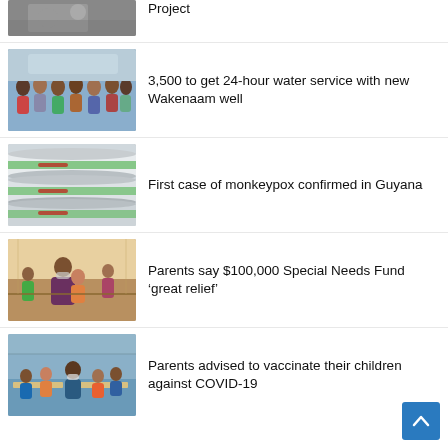[Figure (photo): Partial photo at top of page, cropped]
Project
[Figure (photo): Group of people standing outdoors]
3,500 to get 24-hour water service with new Wakenaam well
[Figure (photo): Green and white tubes/cylinders]
First case of monkeypox confirmed in Guyana
[Figure (photo): Woman with child, indoor setting]
Parents say $100,000 Special Needs Fund ‘great relief’
[Figure (photo): Adults and children at tables in outdoor setting]
Parents advised to vaccinate their children against COVID-19